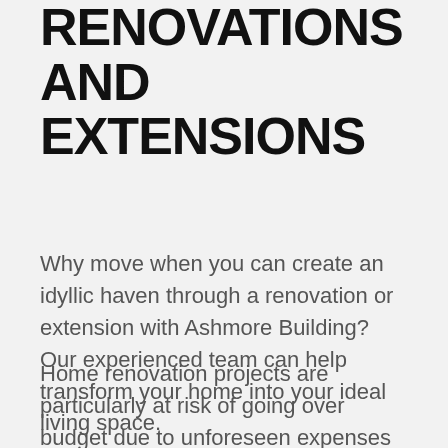RENOVATIONS AND EXTENSIONS
Why move when you can create an idyllic haven through a renovation or extension with Ashmore Building?
Our experienced team can help transform your home into your ideal living space.
Home renovation projects are particularly at risk of going over budget due to unforeseen expenses and products costing more than expected. When you partner with Ashmore Building, one of t...